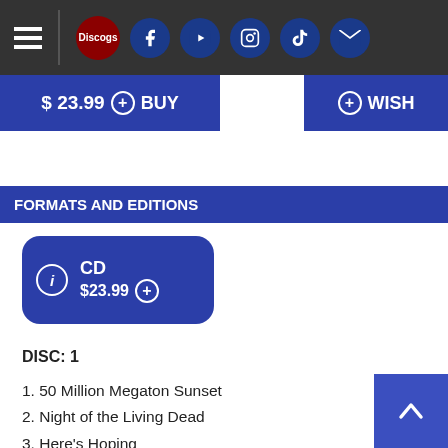Navigation bar with Discogs logo and social media icons
$ 23.99  BUY   WISH
FORMATS AND EDITIONS
CD $23.99
DISC: 1
1. 50 Million Megaton Sunset
2. Night of the Living Dead
3. Here's Hoping
4. On the Way Down
5. Magic Castle
6. Visions
7. It's on the Rise